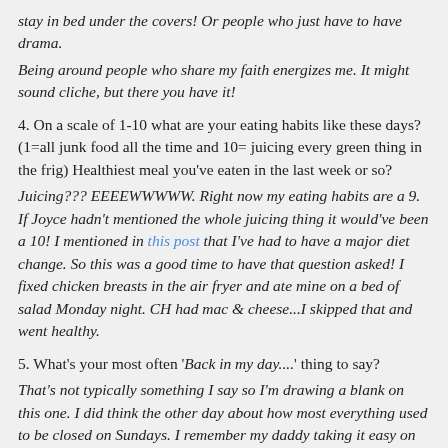stay in bed under the covers! Or people who just have to have drama.
Being around people who share my faith energizes me. It might sound cliche, but there you have it!
4. On a scale of 1-10 what are your eating habits like these days? (1=all junk food all the time and 10= juicing every green thing in the frig) Healthiest meal you've eaten in the last week or so? Juicing??? EEEEWWWWW. Right now my eating habits are a 9. If Joyce hadn't mentioned the whole juicing thing it would've been a 10! I mentioned in this post that I've had to have a major diet change. So this was a good time to have that question asked! I fixed chicken breasts in the air fryer and ate mine on a bed of salad Monday night. CH had mac & cheese...I skipped that and went healthy.
5. What's your most often 'Back in my day....' thing to say? That's not typically something I say so I'm drawing a blank on this one. I did think the other day about how most everything used to be closed on Sundays. I remember my daddy taking it easy on that day. After Mass, he'd sit in his chair with the big ol' Sunday paper. Sometimes he'd turn on the record player, but sometimes he just